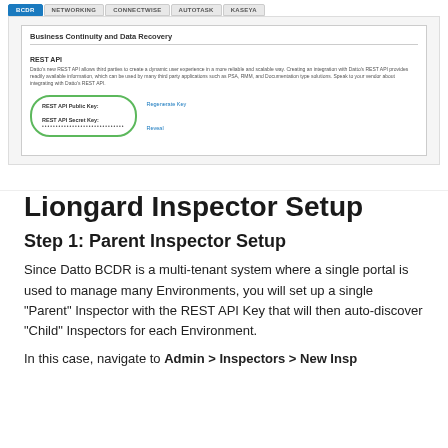[Figure (screenshot): Screenshot of Datto BCDR web interface showing tabs (BCDR, NETWORKING, CONNECTWISE, AUTOTASK, KASEYA) with BCDR active, displaying Business Continuity and Data Recovery panel with REST API section. REST API Public Key and REST API Secret Key fields are circled in green. Regenerate Key and Reveal links appear on the right.]
Liongard Inspector Setup
Step 1: Parent Inspector Setup
Since Datto BCDR is a multi-tenant system where a single portal is used to manage many Environments, you will set up a single "Parent" Inspector with the REST API Key that will then auto-discover "Child" Inspectors for each Environment.
In this case, navigate to Admin > Inspectors > New Insp...